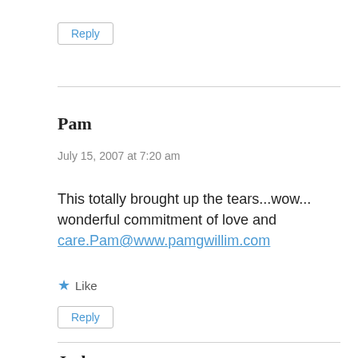Reply
Pam
July 15, 2007 at 7:20 am
This totally brought up the tears...wow...wonderful commitment of love and care.Pam@www.pamgwillim.com
Like
Reply
Judy